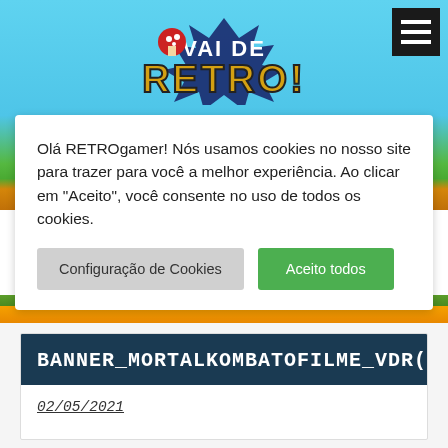[Figure (screenshot): Vai de Retro! website header with colorful retro gaming logo on a blue/cyan background with a green and orange ground strip at the bottom]
Olá RETROgamer! Nós usamos cookies no nosso site para trazer para você a melhor experiência. Ao clicar em "Aceito", você consente no uso de todos os cookies.
Configuração de Cookies
Aceito todos
BANNER_MORTALKOMBATOFILME_VDR(672X300)
02/05/2021